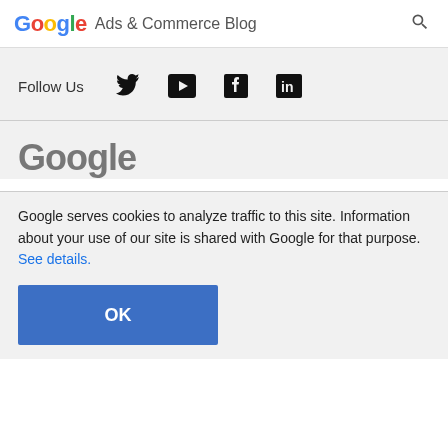Google Ads & Commerce Blog
Follow Us
[Figure (other): Social media icons: Twitter, YouTube, Facebook, LinkedIn]
[Figure (logo): Google wordmark in gray]
Google serves cookies to analyze traffic to this site. Information about your use of our site is shared with Google for that purpose. See details.
OK